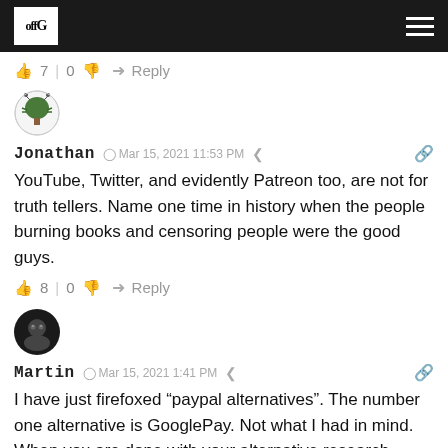OffG
👍 7 | 0 👎 → Reply
[Figure (illustration): Round avatar with tree/insect illustration for user Jonathan]
Jonathan   Mar 15, 2021 11:53 PM
YouTube, Twitter, and evidently Patreon too, are not for truth tellers. Name one time in history when the people burning books and censoring people were the good guys.
👍 8 | 0 👎 → Reply
[Figure (photo): Round dark avatar photo for user Martin]
Martin   Mar 15, 2021 1:41 PM
I have just firefoxed "paypal alternatives". The number one alternative is GooglePay. Not what I had in mind. When you are done with your alternative research some advice wou;ld be